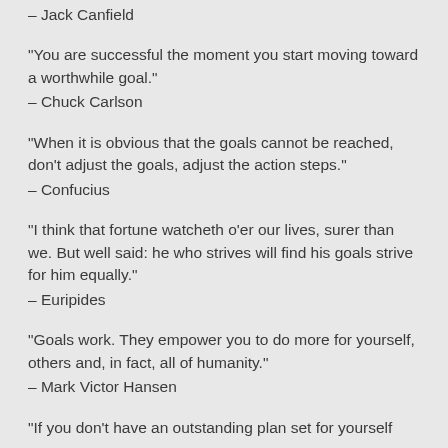– Jack Canfield
“You are successful the moment you start moving toward a worthwhile goal.”
– Chuck Carlson
“When it is obvious that the goals cannot be reached, don’t adjust the goals, adjust the action steps.”
– Confucius
“I think that fortune watcheth o’er our lives, surer than we. But well said: he who strives will find his goals strive for him equally.”
– Euripides
“Goals work. They empower you to do more for yourself, others and, in fact, all of humanity.”
– Mark Victor Hansen
“If you don’t have an outstanding plan set for yourself…